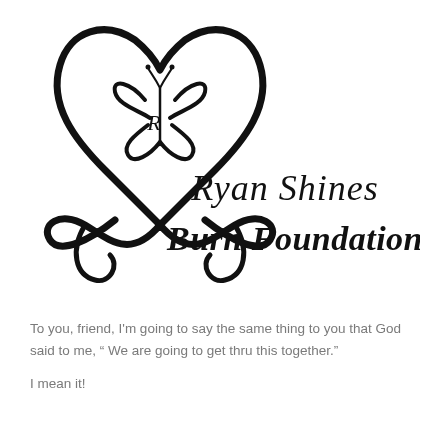[Figure (logo): Ryan Shines Burn Foundation logo: a heart shape formed by ribbon-like strokes with a butterfly in the center containing a stylized 'R', and cursive text 'Ryan Shines Burn Foundation' to the right and below]
To you, friend, I'm going to say the same thing to you that God said to me, “ We are going to get thru this together.”
I mean it!